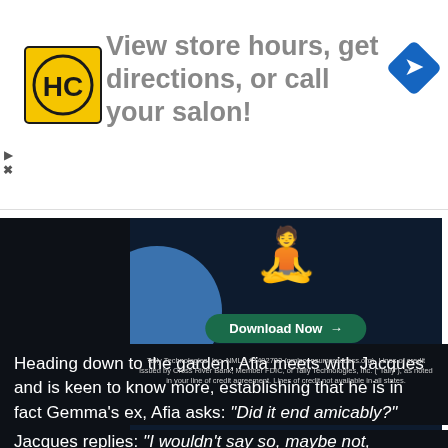[Figure (screenshot): Advertisement banner: HC (Haircuttery) logo on yellow background, text 'View store hours, get directions, or call your salon!' with blue navigation diamond icon on right]
[Figure (screenshot): Tally Technologies advertisement showing a meditating figure, 'Download Now' button, and disclaimer text about credit lines]
Heading down to the garden, Afia meets with Jacques and is keen to know more, establishing that he is in fact Gemma's ex, Afia asks: "Did it end amicably?"
Jacques replies: "I wouldn't say so, maybe not,